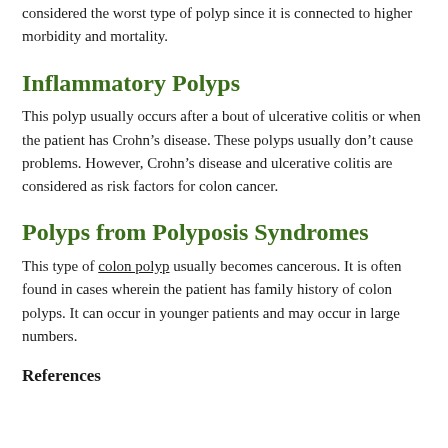considered the worst type of polyp since it is connected to higher morbidity and mortality.
Inflammatory Polyps
This polyp usually occurs after a bout of ulcerative colitis or when the patient has Crohn’s disease. These polyps usually don’t cause problems. However, Crohn’s disease and ulcerative colitis are considered as risk factors for colon cancer.
Polyps from Polyposis Syndromes
This type of colon polyp usually becomes cancerous. It is often found in cases wherein the patient has family history of colon polyps. It can occur in younger patients and may occur in large numbers.
References